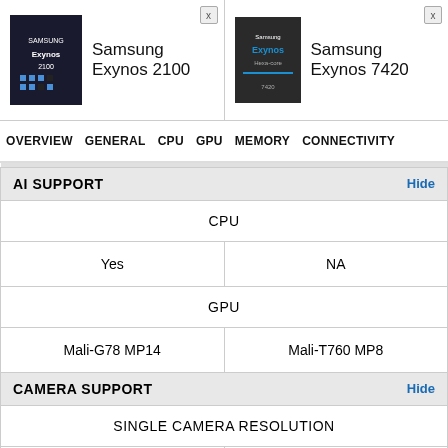Samsung Exynos 2100 vs Samsung Exynos 7420
OVERVIEW  GENERAL  CPU  GPU  MEMORY  CONNECTIVITY
| Samsung Exynos 2100 | Samsung Exynos 7420 |
| --- | --- |
| AI SUPPORT | Hide |
| CPU |  |
| Yes | NA |
| GPU |  |
| Mali-G78 MP14 | Mali-T760 MP8 |
| CAMERA SUPPORT | Hide |
| SINGLE CAMERA RESOLUTION |  |
| 200 MP | 20 MP |
| MULTIMEDIA | Hide |
| SCREEN RESOLUTION (MAX) |  |